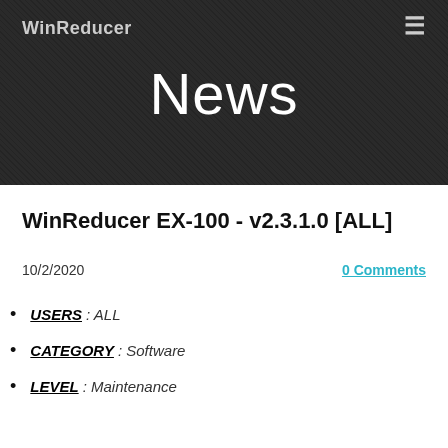WinReducer
News
WinReducer EX-100 - v2.3.1.0 [ALL]
10/2/2020   0 Comments
USERS : ALL
CATEGORY : Software
LEVEL : Maintenance